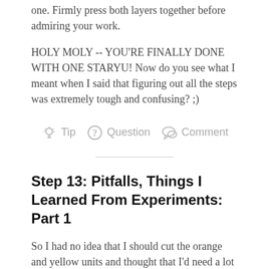one. Firmly press both layers together before admiring your work.
HOLY MOLY -- YOU'RE FINALLY DONE WITH ONE STARYU! Now do you see what I meant when I said that figuring out all the steps was extremely tough and confusing? ;)
Tip   Question   Comment
Step 13: Pitfalls, Things I Learned From Experiments: Part 1
So I had no idea that I should cut the orange and yellow units and thought that I'd need a lot of layers: one layer of yellow above the red, then another layer